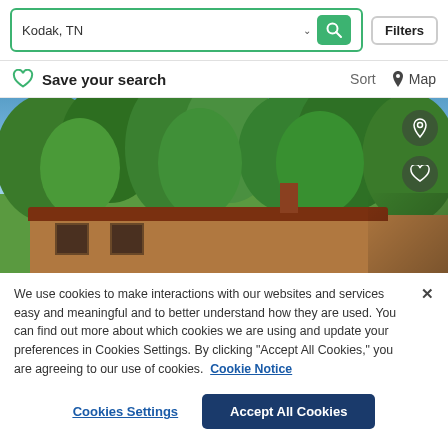[Figure (screenshot): Search bar with 'Kodak, TN' text input, dropdown caret, green search button with magnifying glass icon, and Filters button]
Save your search   Sort  Map
[Figure (photo): Exterior photo of a ranch-style house with a brown/terracotta roof surrounded by tall green trees under a blue sky. Location pin and heart icon buttons visible in the top right corner of the image.]
We use cookies to make interactions with our websites and services easy and meaningful and to better understand how they are used. You can find out more about which cookies we are using and update your preferences in Cookies Settings. By clicking "Accept All Cookies," you are agreeing to our use of cookies. Cookie Notice
Cookies Settings   Accept All Cookies